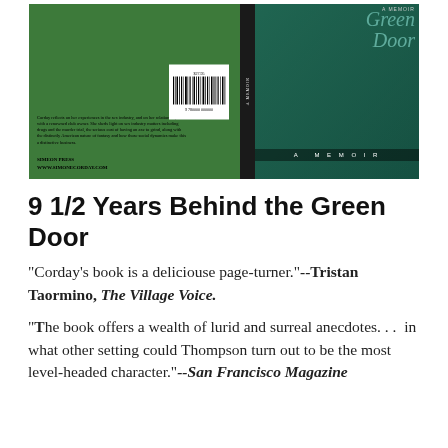[Figure (photo): Book cover of '9 1/2 Years Behind the Green Door: A Memoir' showing the back cover with text and barcode, the spine, and the front cover with green tones and cursive title text.]
9 1/2 Years Behind the Green Door
"Corday's book is a deliciouse page-turner."--Tristan Taormino, The Village Voice.
"The book offers a wealth of lurid and surreal anecdotes. . .  in what other setting could Thompson turn out to be the most level-headed character."--San Francisco Magazine